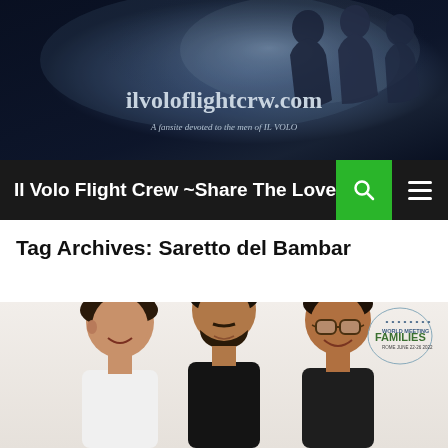[Figure (photo): Website banner showing three men in a dark blue smoky background with the website name ilvoloflightcrew.com and tagline 'A fansite devoted to the men of IL VOLO']
Il Volo Flight Crew ~Share The Love
Tag Archives: Saretto del Bambar
[Figure (photo): Photo of three young men (Il Volo group members) smiling, posing together against a light background. A World Meeting of Families logo is visible in the upper right corner of the photo.]